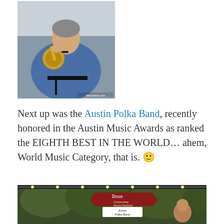[Figure (photo): A man playing a brass instrument (French horn or mellophone), wearing a blue plaid shirt, reading sheet music on a black music stand. Photo watermark visible at bottom right.]
Next up was the Austin Polka Band, recently honored in the Austin Music Awards as ranked the EIGHTH BEST IN THE WORLD… ahem, World Music Category, that is. 🙂
[Figure (photo): Outdoor festival scene with trees, string lights, and a banner reading 'Texas Community Music Festival' with a smaller sign 'Austin Polka Band' below it.]